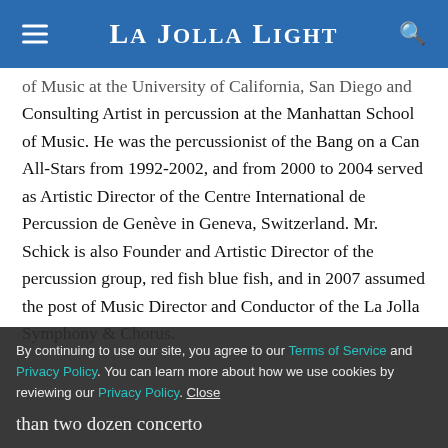La Jolla Light
of Music at the University of California, San Diego and Consulting Artist in percussion at the Manhattan School of Music. He was the percussionist of the Bang on a Can All-Stars from 1992-2002, and from 2000 to 2004 served as Artistic Director of the Centre International de Percussion de Genève in Geneva, Switzerland. Mr. Schick is also Founder and Artistic Director of the percussion group, red fish blue fish, and in 2007 assumed the post of Music Director and Conductor of the La Jolla Symphony & Chorus.
By continuing to use our site, you agree to our Terms of Service and Privacy Policy. You can learn more about how we use cookies by reviewing our Privacy Policy. Close
than two dozen concerto